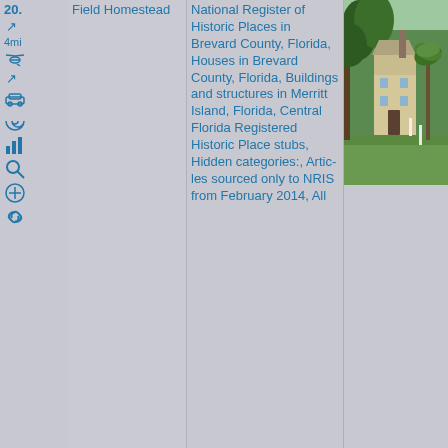20.
↗ 4mi 🚁 ↗ 🚗 🌀 📊 🔍 ⊕ 🔗
Field Homestead
National Register of Historic Places in Brevard County, Florida, Houses in Brevard County, Florida, Buildings and structures in Merritt Island, Florida, Central Florida Registered Historic Place stubs, Hidden categories:, Articles sourced only to NRIS from February 2014, All
[Figure (photo): Photograph of a historic homestead building surrounded by grass and palm trees, taken in daylight. The building appears to be a two-story white/cream colored structure with a chimney, surrounded by large trees including palm trees and oaks.]